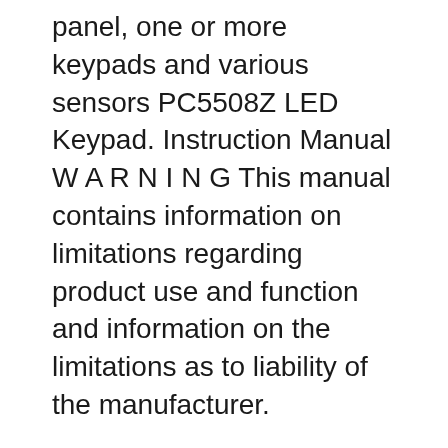panel, one or more keypads and various sensors PC5508Z LED Keypad. Instruction Manual W A R N I N G This manual contains information on limitations regarding product use and function and information on the limitations as to liability of the manufacturer.
DSC Power Series Envisalink App. Security Alarm Products Australia Service and support for users of alarms in Sydney. At Security Alarm Sydney, we install, service and support DSC systems in Sydney. DSC alarms are our specialty, so whatever issue you have with your security systems, including the monitoring of our detection and